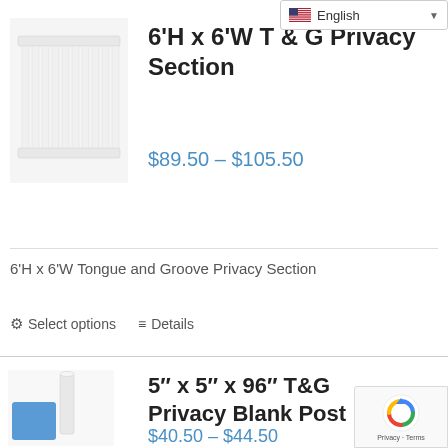[Figure (screenshot): Language selector dropdown showing English with US flag]
[Figure (photo): White vinyl fence panel section (6'H x 6'W T&G Privacy Section)]
6'H x 6'W T & G Privacy Section
$89.50 – $105.50
6'H x 6'W Tongue and Groove Privacy Section
⚙ Select options   ≡ Details
[Figure (photo): White vinyl post and blue square product image for 5 inch x 5 inch x 96 inch T&G Privacy Blank Post]
5″ x 5″ x 96″ T&G Privacy Blank Post
$40.50 – $44.50
[Figure (screenshot): reCAPTCHA badge with spinning arrows logo and Privacy · Terms text]